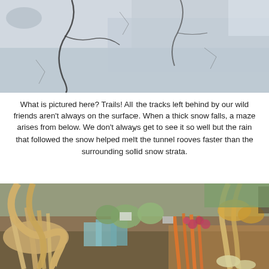[Figure (photo): Close-up photo of a cracked, light grey surface (snow or ice) with dark cracks and some thin dark marks, likely animal tracks or trails visible through the snow/ice surface.]
What is pictured here? Trails! All the tracks left behind by our wild friends aren't always on the surface. When a thick snow falls, a maze arises from below. We don't always get to see it so well but the rain that followed the snow helped melt the tunnel rooves faster than the surrounding solid snow strata.
[Figure (photo): Photo of a farmers market vegetable stand showing a large display of root vegetables including parsnips, carrots, radishes, turnips, and other produce arranged in boxes and baskets. A person is visible in the background on the right.]